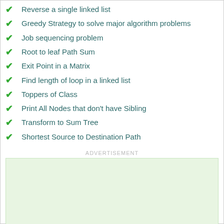Reverse a single linked list
Greedy Strategy to solve major algorithm problems
Job sequencing problem
Root to leaf Path Sum
Exit Point in a Matrix
Find length of loop in a linked list
Toppers of Class
Print All Nodes that don't have Sibling
Transform to Sum Tree
Shortest Source to Destination Path
ADVERTISEMENT
[Figure (other): Green advertisement placeholder box]